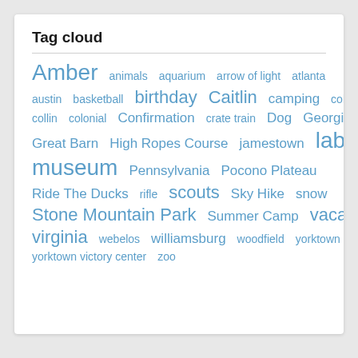Tag cloud
Amber animals aquarium arrow of light atlanta austin basketball birthday Caitlin camping colfax collin colonial Confirmation crate train Dog Georgia Great Barn High Ropes Course jamestown labradoodle museum Pennsylvania Pocono Plateau Ride The Ducks rifle scouts Sky Hike snow Stone Mountain Park Summer Camp vacation virginia webelos williamsburg woodfield yorktown yorktown victory center zoo